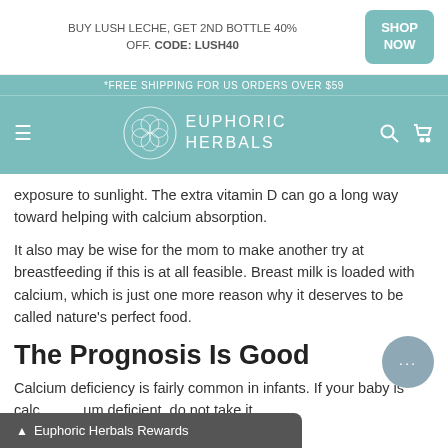BUY LUSH LECHE, GET 2ND BOTTLE 40% OFF. CODE: LUSH40  SHOP NOW
*FREE SHIPPING FOR US ORDERS OVER $59
[Figure (logo): Euphoric Herbals logo with geometric flower circle and text]
exposure to sunlight. The extra vitamin D can go a long way toward helping with calcium absorption.
It also may be wise for the mom to make another try at breastfeeding if this is at all feasible. Breast milk is loaded with calcium, which is just one more reason why it deserves to be called nature's perfect food.
The Prognosis Is Good
Calcium deficiency is fairly common in infants. If your baby is calcium deficient, do not take it
Euphoric Herbals Rewards